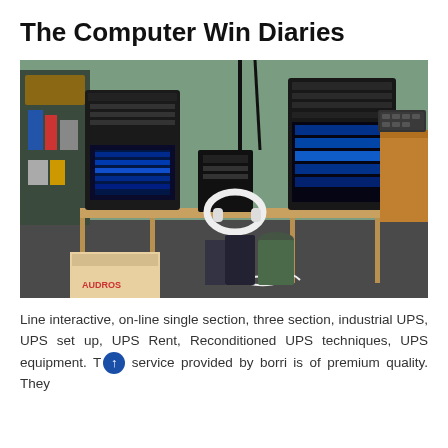The Computer Win Diaries
[Figure (photo): Two black computer tower cases on a wooden desk/shelf, with white headphones resting on the desk between them. A smaller black box (UPS or similar device) sits between the towers. A keyboard and monitor are visible on a wooden desk to the right. Shelves with various items visible on the left. Cables and a cardboard box are visible below the desk on the floor.]
Line interactive, on-line single section, three section, industrial UPS, UPS set up, UPS Rent, Reconditioned UPS techniques, UPS equipment. The service provided by borri is of premium quality. They